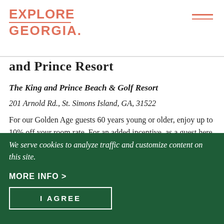[Figure (logo): Explore Georgia logo in salmon/coral color with two horizontal lines as underline accent]
and Prince Resort
The King and Prince Beach & Golf Resort
201 Arnold Rd., St. Simons Island, GA, 31522
For our Golden Age guests 60 years young or older, enjoy up to 10% off your room rate. For an added incentive, as a guest here at the resort, you'll receive a $95 golf rate per person, plus tax in [...]
We serve cookies to analyze traffic and customize content on this site.
MORE INFO >
I AGREE